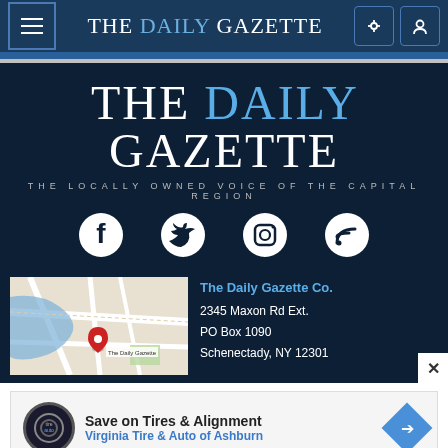THE DAILY GAZETTE
[Figure (logo): The Daily Gazette large masthead logo on dark navy background with tagline 'THE LOCALLY OWNED VOICE OF THE CAPITAL REGION' and social media icons (Facebook, Twitter, Instagram, RSS)]
[Figure (map): Google Maps screenshot showing location of The Daily Gazette on Maxon Rd Ext., Schenectady NY with red map pin]
The Daily Gazette Co.
2345 Maxon Rd Ext.
PO Box 1090
Schenectady, NY 12301
[Figure (screenshot): Advertisement: Save on Tires & Alignment - Virginia Tire & Auto of Ashburn with logo and directional arrow icon]